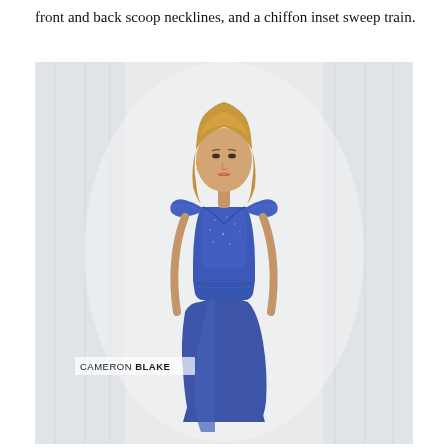front and back scoop necklines, and a chiffon inset sweep train.
[Figure (photo): A model wearing a royal blue formal gown with lace cap sleeves, V-neckline, ruched waist, and flowing chiffon skirt. The brand label 'CAMERON BLAKE' is visible in the lower left of the image.]